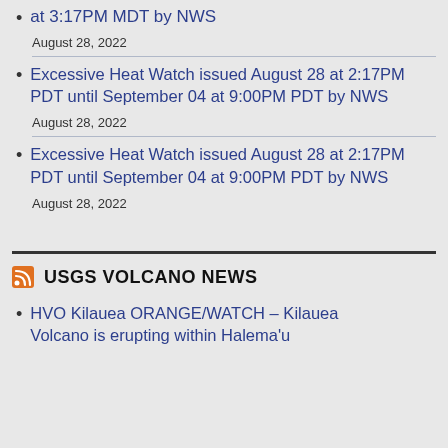at 3:17PM MDT by NWS
August 28, 2022
Excessive Heat Watch issued August 28 at 2:17PM PDT until September 04 at 9:00PM PDT by NWS
August 28, 2022
Excessive Heat Watch issued August 28 at 2:17PM PDT until September 04 at 9:00PM PDT by NWS
August 28, 2022
USGS VOLCANO NEWS
HVO Kilauea ORANGE/WATCH – Kilauea Volcano is erupting within Halema'u